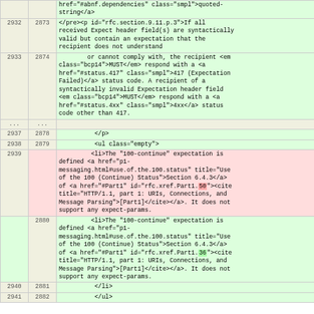| line-old | line-new | content |
| --- | --- | --- |
|  |  | href="#abnf.dependencies" class="smpl">quoted-string</a> |
| 2932 | 2873 | </pre><p id="rfc.section.9.11.p.3">If all received Expect header field(s) are syntactically valid but contain an expectation that the recipient does not understand |
| 2933 | 2874 |         or cannot comply with, the recipient <em class="bcp14">MUST</em> respond with a <a href="#status.417" class="smpl">417 (Expectation Failed)</a> status code. A recipient of a syntactically invalid Expectation header field <em class="bcp14">MUST</em> respond with a <a href="#status.4xx" class="smpl">4xx</a> status code other than 417. |
| ... | ... |  |
| 2937 | 2878 |           </p> |
| 2938 | 2879 |           <ul class="empty"> |
| 2939 |  |         <li>The "100-continue" expectation is defined <a href="p1-messaging.html#use.of.the.100.status" title="Use of the 100 (Continue) Status">Section 6.4.3</a> of <a href="#Part1" id="rfc.xref.Part1.50"><cite title="HTTP/1.1, part 1: URIs, Connections, and Message Parsing">[Part1]</cite></a>. It does not support any expect-params. |
|  | 2880 |         <li>The "100-continue" expectation is defined <a href="p1-messaging.html#use.of.the.100.status" title="Use of the 100 (Continue) Status">Section 6.4.3</a> of <a href="#Part1" id="rfc.xref.Part1.36"><cite title="HTTP/1.1, part 1: URIs, Connections, and Message Parsing">[Part1]</cite></a>. It does not support any expect-params. |
| 2940 | 2881 |           </li> |
| 2941 | 2882 |           </ul> |